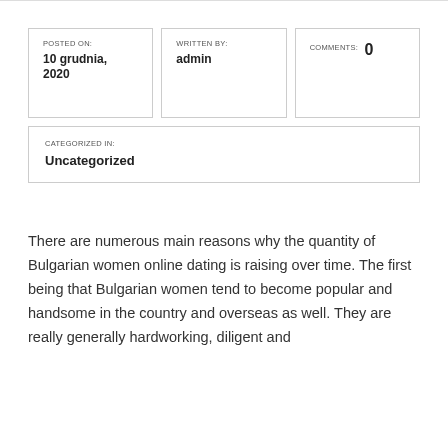POSTED ON: 10 grudnia, 2020
WRITTEN BY: admin
COMMENTS: 0
CATEGORIZED IN: Uncategorized
There are numerous main reasons why the quantity of Bulgarian women online dating is raising over time. The first being that Bulgarian women tend to become popular and handsome in the country and overseas as well. They are really generally hardworking, diligent and